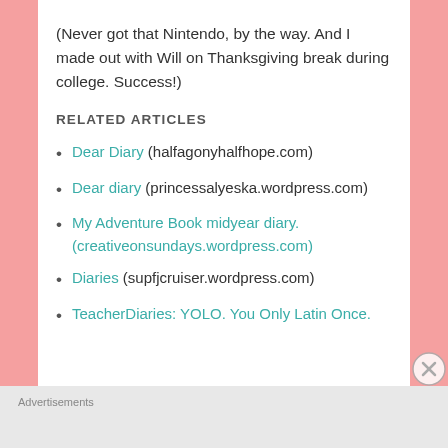(Never got that Nintendo, by the way. And I made out with Will on Thanksgiving break during college. Success!)
RELATED ARTICLES
Dear Diary (halfagonyhalfhope.com)
Dear diary (princessalyeska.wordpress.com)
My Adventure Book midyear diary. (creativeonsundays.wordpress.com)
Diaries (supfjcruiser.wordpress.com)
TeacherDiaries: YOLO. You Only Latin Once.
Advertisements